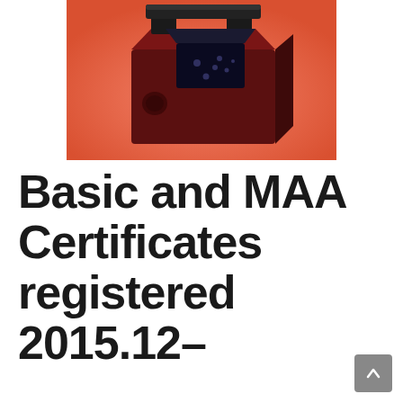[Figure (photo): A calibration weight (cast iron or steel, dark red/maroon color with black top handle) photographed against an orange/salmon background. The weight is a rectangular block with a built-in carrying slot.]
Basic and MAA Certificates registered 2015.12–